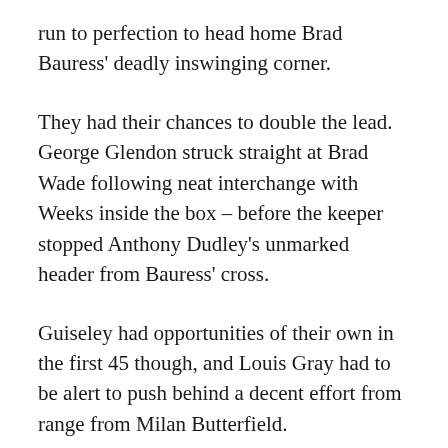run to perfection to head home Brad Bauress' deadly inswinging corner.
They had their chances to double the lead. George Glendon struck straight at Brad Wade following neat interchange with Weeks inside the box – before the keeper stopped Anthony Dudley's unmarked header from Bauress' cross.
Guiseley had opportunities of their own in the first 45 though, and Louis Gray had to be alert to push behind a decent effort from range from Milan Butterfield.
Stoke City loanee Taylor put in a strong showing on debut, and was well placed in the six yard box to block Kaine Felix's effort following a long throw from Lebrun Mbala just before the interval.